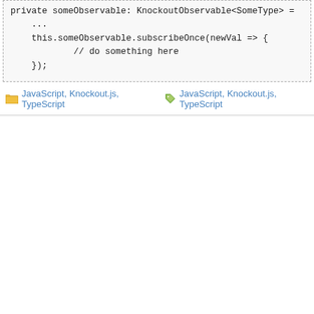[Figure (screenshot): Code block showing TypeScript/JavaScript code snippet with private someObservable KnockoutObservable<SomeType>, subscribeOnce usage]
JavaScript, Knockout.js, TypeScript   JavaScript, Knockout.js, TypeScript